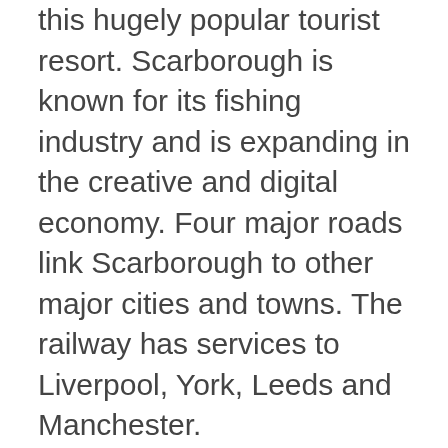this hugely popular tourist resort. Scarborough is known for its fishing industry and is expanding in the creative and digital economy. Four major roads link Scarborough to other major cities and towns. The railway has services to Liverpool, York, Leeds and Manchester.
Every year in July the annual Seafest festival takes place and this attracts many visitors. Property auctions in Scarborough can be expensive but there are some hidden gems